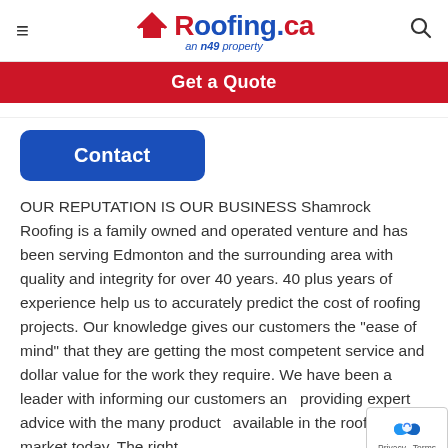≡  Roofing.ca an n49 property  🔍
Get a Quote
Contact
OUR REPUTATION IS OUR BUSINESS Shamrock Roofing is a family owned and operated venture and has been serving Edmonton and the surrounding area with quality and integrity for over 40 years. 40 plus years of experience help us to accurately predict the cost of roofing projects. Our knowledge gives our customers the "ease of mind" that they are getting the most competent service and dollar value for the work they require. We have been a leader with informing our customers and providing expert advice with the many products available in the roofing market today. The right